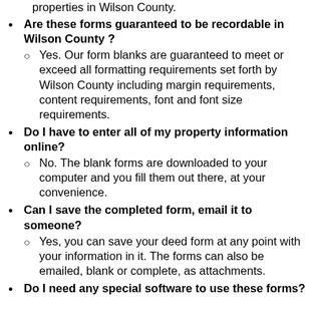properties in Wilson County.
Are these forms guaranteed to be recordable in Wilson County? Yes. Our form blanks are guaranteed to meet or exceed all formatting requirements set forth by Wilson County including margin requirements, content requirements, font and font size requirements.
Do I have to enter all of my property information online? No. The blank forms are downloaded to your computer and you fill them out there, at your convenience.
Can I save the completed form, email it to someone? Yes, you can save your deed form at any point with your information in it. The forms can also be emailed, blank or complete, as attachments.
Do I need any special software to use these forms?